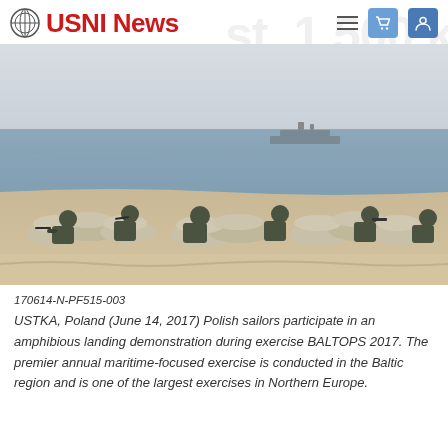USNI News
[Figure (photo): Soldiers in military gear crouching behind sandbags on a beach, facing the sea where a naval vessel is visible on the horizon. Scene from exercise BALTOPS 2017 in Ustka, Poland.]
170614-N-PF515-003
USTKA, Poland (June 14, 2017) Polish sailors participate in an amphibious landing demonstration during exercise BALTOPS 2017. The premier annual maritime-focused exercise is conducted in the Baltic region and is one of the largest exercises in Northern Europe.